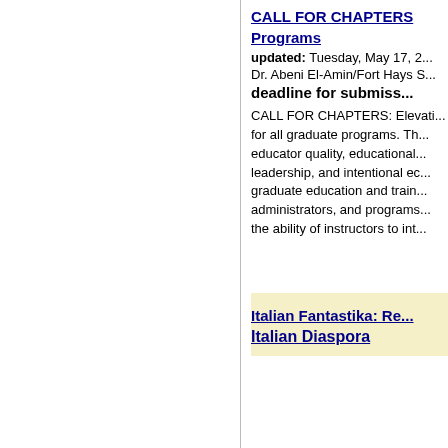CALL FOR CHAPTERS
Programs
updated: Tuesday, May 17, 2...
Dr. Abeni El-Amin/Fort Hays S...
deadline for submiss...
CALL FOR CHAPTERS: Elevati... for all graduate programs. Th... educator quality, educational... leadership, and intentional ec... graduate education and train... administrators, and programs... the ability of instructors to int...
Italian Fantastika: Re...
Italian Diaspora